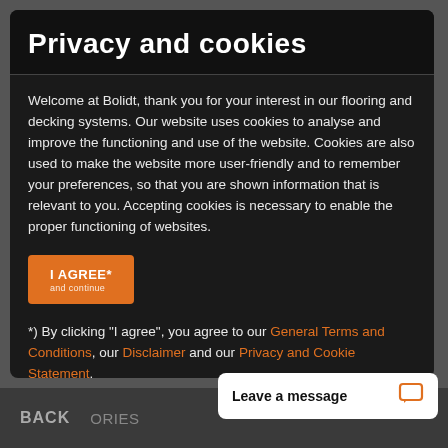Privacy and cookies
Welcome at Bolidt, thank you for your interest in our flooring and decking systems. Our website uses cookies to analyse and improve the functioning and use of the website. Cookies are also used to make the website more user-friendly and to remember your preferences, so that you are shown information that is relevant to you. Accepting cookies is necessary to enable the proper functioning of websites.
I AGREE*
*) By clicking "I agree", you agree to our General Terms and Conditions, our Disclaimer and our Privacy and Cookie Statement.
BACK  ORIES  Leave a message